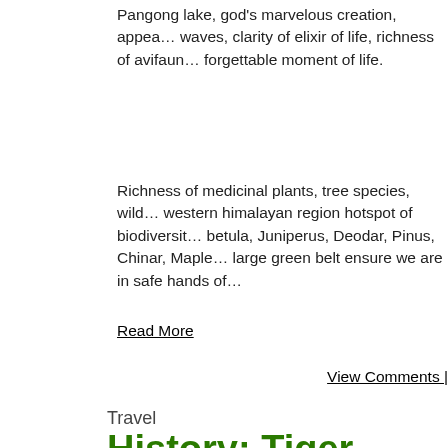Pangong lake, god's marvelous creation, appea… waves, clarity of elixir of life, richness of avifaun… forgettable moment of life.
Richness of medicinal plants, tree species, wild… western himalayan region hotspot of biodiversit… betula, Juniperus, Deodar, Pinus, Chinar, Maple… large green belt ensure we are in safe hands of…
Read More
View Comments |
Travel
History: Tiger Tourisme Kanha
Posted by Uday on June 21, 2014